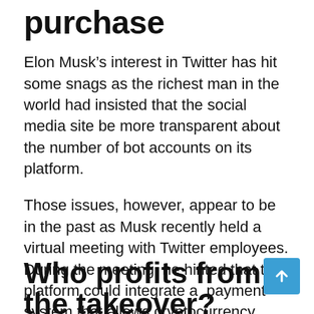purchase
Elon Musk’s interest in Twitter has hit some snags as the richest man in the world had insisted that the social media site be more transparent about the number of bot accounts on its platform.
Those issues, however, appear to be in the past as Musk recently held a virtual meeting with Twitter employees. During the meeting, he hinted that the platform could integrate a  payment system that allows cryptocurrency transactions.
Several analysts have opined that the virtual meeting is the latest signal that Elon Musk remains committed to completing the acquisition.
Who profits from the takeover?